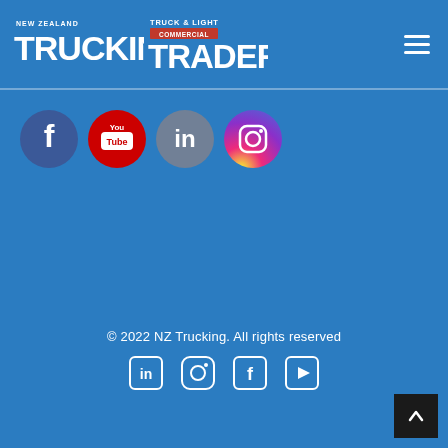NZ Trucking / Truck & Light Commercial Trader — site header with logos and hamburger menu
[Figure (logo): New Zealand Trucking magazine logo — white text on blue]
[Figure (logo): Truck & Light Commercial Trader logo — white and red text on blue]
[Figure (infographic): Four circular social media icons: Facebook (blue), YouTube (red), LinkedIn (grey-blue), Instagram (purple gradient)]
© 2022 NZ Trucking. All rights reserved
[Figure (infographic): Four outline social media icons in footer row: LinkedIn, Instagram, Facebook, YouTube]
[Figure (other): Back to top button — dark square with upward chevron arrow]